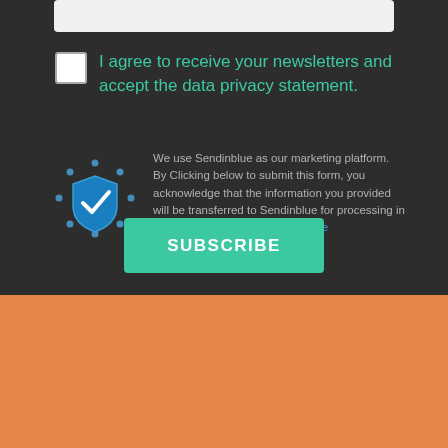[Figure (screenshot): Dark background form section with input bar at top, checkbox with teal text agreement, GDPR shield icon with gray text, and teal SUBSCRIBE button]
I agree to receive your newsletters and accept the data privacy statement.
We use Sendinblue as our marketing platform. By Clicking below to submit this form, you acknowledge that the information you provided will be transferred to Sendinblue for processing in accordance with their terms of use
SUBSCRIBE
Want some good news in your inbox?
Email
JOIN US